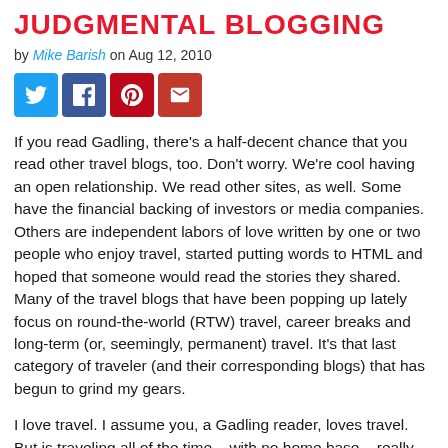JUDGMENTAL BLOGGING
by Mike Barish on Aug 12, 2010
[Figure (other): Social share buttons: Twitter, Facebook, Pinterest, Email]
If you read Gadling, there’s a half-decent chance that you read other travel blogs, too. Don’t worry. We’re cool having an open relationship. We read other sites, as well. Some have the financial backing of investors or media companies. Others are independent labors of love written by one or two people who enjoy travel, started putting words to HTML and hoped that someone would read the stories they shared. Many of the travel blogs that have been popping up lately focus on round-the-world (RTW) travel, career breaks and long-term (or, seemingly, permanent) travel. It’s that last category of traveler (and their corresponding blogs) that has begun to grind my gears.
I love travel. I assume you, a Gadling reader, loves travel. But is traveling all of the time – with no home base – really that